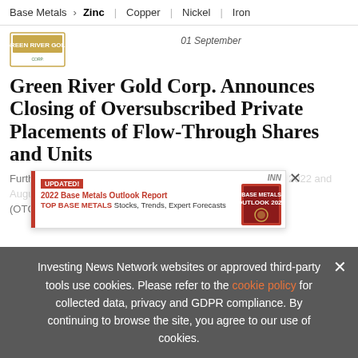Base Metals > Zinc | Copper | Nickel | Iron
[Figure (logo): Green River Gold Corp logo - gold/green rectangular logo with company name]
01 September
Green River Gold Corp. Announces Closing of Oversubscribed Private Placements of Flow-Through Shares and Units
Further to its news releases dated July 21, 2022, August 12, 2022 and August 22, 2022 (OTC Pink: CERIC) (the "Company" or "Green River")
[Figure (infographic): UPDATED! 2022 Base Metals Outlook Report advertisement. INN. TOP BASE METALS Stocks, Trends, Expert Forecasts. Shows Base Metals Outlook 2022 book cover.]
Investing News Network websites or approved third-party tools use cookies. Please refer to the cookie policy for collected data, privacy and GDPR compliance. By continuing to browse the site, you agree to our use of cookies.